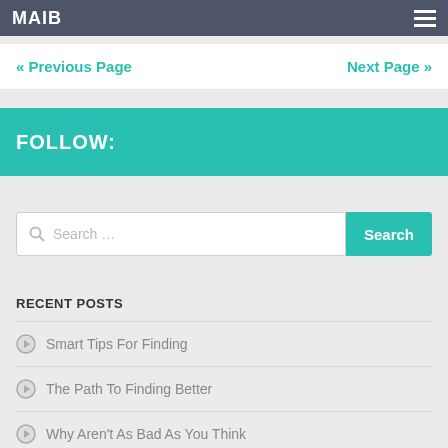MAIB
« Previous Page
Next Page »
FOLLOW:
Search …
RECENT POSTS
Smart Tips For Finding
The Path To Finding Better
Why Aren't As Bad As You Think